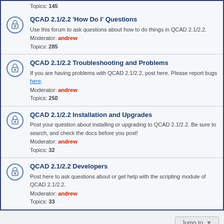Topics: 145
QCAD 2.1/2.2 'How Do I' Questions
Use this forum to ask questions about how to do things in QCAD 2.1/2.2. Moderator: andrew Topics: 285
QCAD 2.1/2.2 Troubleshooting and Problems
If you are having problems with QCAD 2.1/2.2, post here. Please report bugs here. Moderator: andrew Topics: 250
QCAD 2.1/2.2 Installation and Upgrades
Post your question about installing or upgrading to QCAD 2.1/2.2. Be sure to search, and check the docs before you post! Moderator: andrew Topics: 32
QCAD 2.1/2.2 Developers
Post here to ask questions about or get help with the scripting module of QCAD 2.1/2.2. Moderator: andrew Topics: 33
Board index | All times are UTC+01:00
Powered by phpBB® Forum Software © phpBB Limited
Time: 0.059s | Queries: 11 | Peak Memory Usage: 2.39 MiB